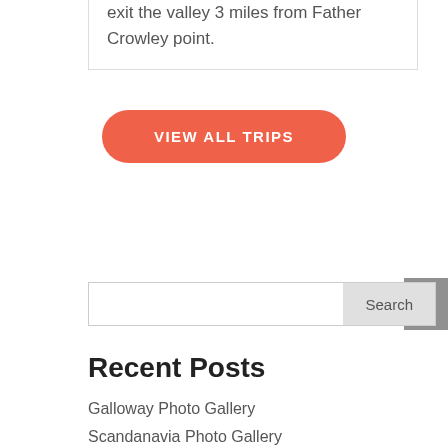exit the valley 3 miles from Father Crowley point.
VIEW ALL TRIPS
Search
Recent Posts
Galloway Photo Gallery
Scandanavia Photo Gallery